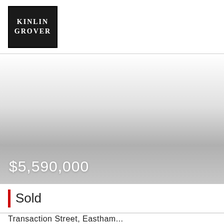Kinlin Grover
[Figure (photo): Real estate property photo with gradient overlay showing price $5,590,000]
$5,590,000
Sold
Transaction Street, Eastham...